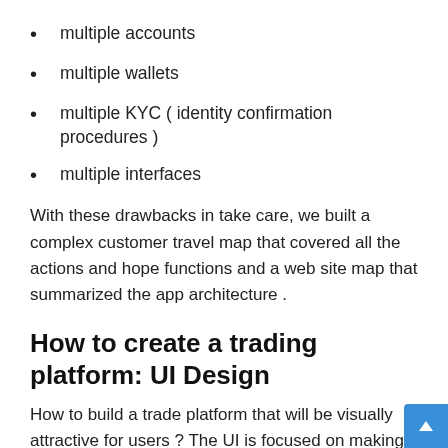multiple accounts
multiple wallets
multiple KYC ( identity confirmation procedures )
multiple interfaces
With these drawbacks in take care, we built a complex customer travel map that covered all the actions and hope functions and a web site map that summarized the app architecture .
How to create a trading platform: UI Design
How to build a trade platform that will be visually attractive for users ? The UI is focused on making